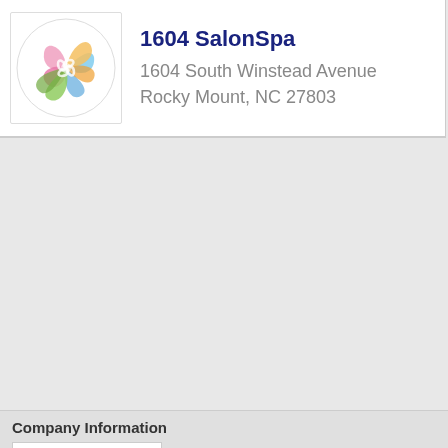[Figure (logo): 1604 SalonSpa logo: circular design with swirling shapes in pink, blue, orange, and green on white background]
1604 SalonSpa
1604 South Winstead Avenue
Rocky Mount, NC 27803
Company Information